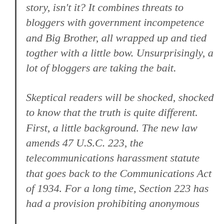story, isn't it? It combines threats to bloggers with government incompetence and Big Brother, all wrapped up and tied togther with a little bow. Unsurprisingly, a lot of bloggers are taking the bait.
Skeptical readers will be shocked, shocked to know that the truth is quite different. First, a little background. The new law amends 47 U.S.C. 223, the telecommunications harassment statute that goes back to the Communications Act of 1934. For a long time, Section 223 has had a provision prohibiting anonymous harassment conducted by telephone.